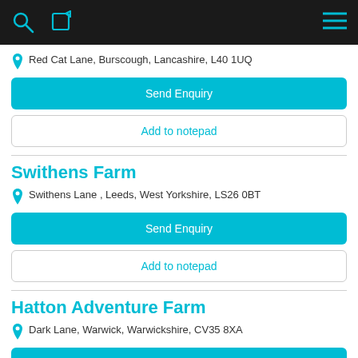Search | Edit | Menu
Red Cat Lane, Burscough, Lancashire, L40 1UQ
Send Enquiry
Add to notepad
Swithens Farm
Swithens Lane , Leeds, West Yorkshire, LS26 0BT
Send Enquiry
Add to notepad
Hatton Adventure Farm
Dark Lane, Warwick, Warwickshire, CV35 8XA
Send Enquiry